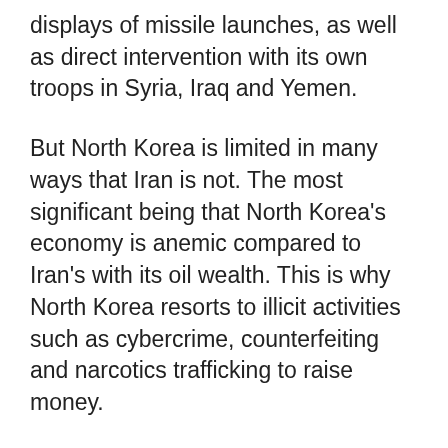displays of missile launches, as well as direct intervention with its own troops in Syria, Iraq and Yemen.
But North Korea is limited in many ways that Iran is not. The most significant being that North Korea's economy is anemic compared to Iran's with its oil wealth. This is why North Korea resorts to illicit activities such as cybercrime, counterfeiting and narcotics trafficking to raise money.
Iran by comparison has used its oil wealth to fund a massive military and prop up the Assad regime in Syria as well as fund the terrorist group Hezbollah and the Houthi rebellion in Yemen. Recent reports also show Iran's military